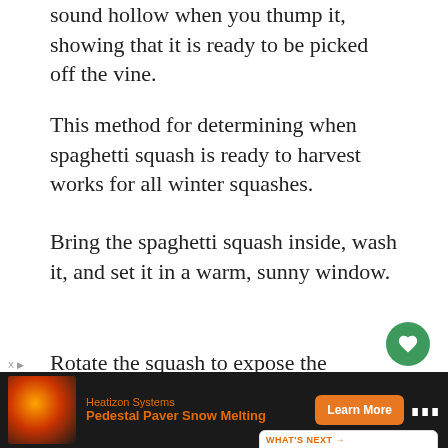sound hollow when you thump it, showing that it is ready to be picked off the vine.
This method for determining when spaghetti squash is ready to harvest works for all winter squashes.
Bring the spaghetti squash inside, wash it, and set it in a warm, sunny window.
Rotate the squash to expose the green spots to the sun over a few weeks, and your squash should ripen to a deep golden yellow. Here, you can see how to ripen winter squashes and pumpkins.
Safe To Eat Zucchini With Powdery Mildew)
[Figure (other): Advertisement banner for Heatizon Systems Pedestal Paver Snow Melting with Learn More button]
[Figure (other): Heart/like button overlay (green circle with heart icon, count 1) and share button]
[Figure (other): What's Next panel: When To Pick Squash]